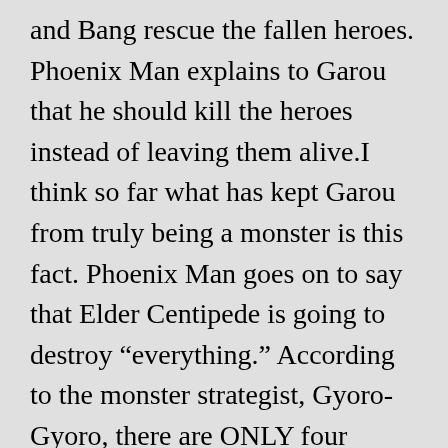and Bang rescue the fallen heroes. Phoenix Man explains to Garou that he should kill the heroes instead of leaving them alive.I think so far what has kept Garou from truly being a monster is this fact. Phoenix Man goes on to say that Elder Centipede is going to destroy “everything.” According to the monster strategist, Gyoro-Gyoro, there are ONLY four heroes that can defeat the Elder Centipede. Terrible Tornado, because of her psychic powers, Metal Knight, that “hoards military might on an unknown scale.” King, the “strongest human alive,” and the one hero Blast. Of course, we also